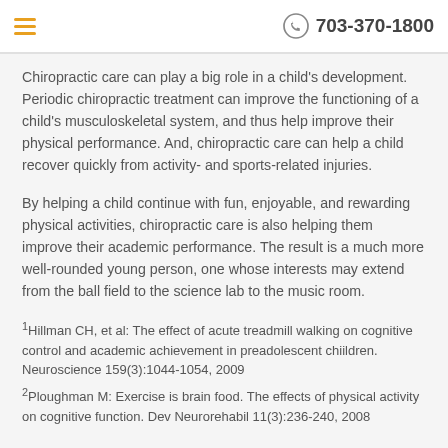703-370-1800
Chiropractic care can play a big role in a child's development. Periodic chiropractic treatment can improve the functioning of a child's musculoskeletal system, and thus help improve their physical performance. And, chiropractic care can help a child recover quickly from activity- and sports-related injuries.
By helping a child continue with fun, enjoyable, and rewarding physical activities, chiropractic care is also helping them improve their academic performance. The result is a much more well-rounded young person, one whose interests may extend from the ball field to the science lab to the music room.
1Hillman CH, et al: The effect of acute treadmill walking on cognitive control and academic achievement in preadolescent chiildren. Neuroscience 159(3):1044-1054, 2009
2Ploughman M: Exercise is brain food. The effects of physical activity on cognitive function. Dev Neurorehabil 11(3):236-240, 2008